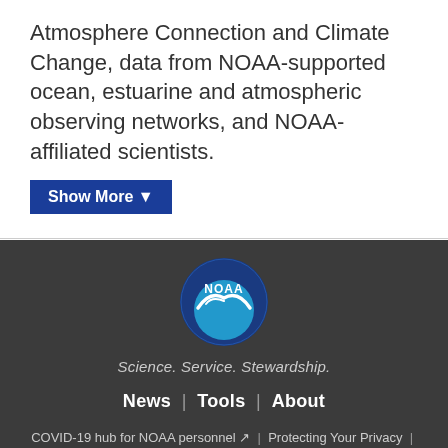Atmosphere Connection and Climate Change, data from NOAA-supported ocean, estuarine and atmospheric observing networks, and NOAA-affiliated scientists.
Show More ▼
[Figure (logo): NOAA circular logo — dark blue background with a light blue globe and white seabird, text 'NOAA' in white at top]
Science. Service. Stewardship.
News  |  Tools  |  About
COVID-19 hub for NOAA personnel ↗  |  Protecting Your Privacy  |  FOIA  |  Information Quality  |